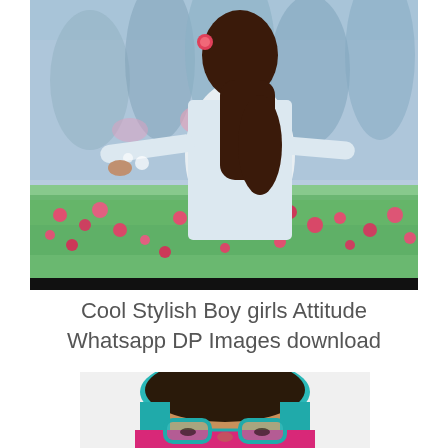[Figure (photo): A girl with long dark hair, wearing a white long-sleeve top, standing in a field of pink and red flowers with arms outstretched, viewed from behind. She has a pink flower accessory in her hair.]
Cool Stylish Boy girls Attitude Whatsapp DP Images download
[Figure (photo): A person wearing teal/turquoise glasses and a teal hoodie, with dark hair, looking downward. They are wearing a bright pink/magenta top. Only the top portion of the head and face is visible.]